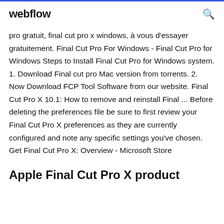webflow
pro gratuit, final cut pro x windows, à vous d'essayer gratuitement. Final Cut Pro For Windows - Final Cut Pro for Windows Steps to Install Final Cut Pro for Windows system. 1. Download Final cut pro Mac version from torrents. 2. Now Download FCP Tool Software from our website. Final Cut Pro X 10.1: How to remove and reinstall Final ... Before deleting the preferences file be sure to first review your Final Cut Pro X preferences as they are currently configured and note any specific settings you've chosen. Get Final Cut Pro X: Overview - Microsoft Store
Apple Final Cut Pro X product